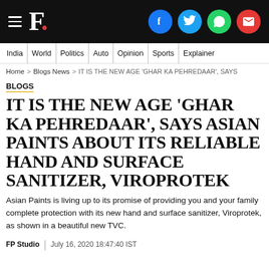F. [Firstpost logo with hamburger menu and social icons: Facebook, Twitter, WhatsApp, Email]
India | World | Politics | Auto | Opinion | Sports | Explainers
Home > Blogs News > IT IS THE NEW AGE 'GHAR KA PEHREDAAR', SAYS
BLOGS
IT IS THE NEW AGE 'GHAR KA PEHREDAAR', SAYS ASIAN PAINTS ABOUT ITS RELIABLE HAND AND SURFACE SANITIZER, VIROPROTEK
Asian Paints is living up to its promise of providing you and your family complete protection with its new hand and surface sanitizer, Viroprotek, as shown in a beautiful new TVC.
FP Studio | July 16, 2020 18:47:40 IST